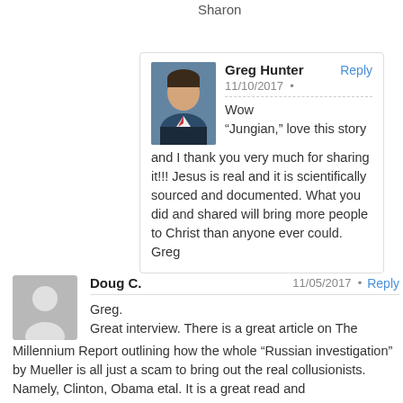Sharon
Greg Hunter
11/10/2017 •
Wow
"Jungian," love this story and I thank you very much for sharing it!!! Jesus is real and it is scientifically sourced and documented. What you did and shared will bring more people to Christ than anyone ever could.
Greg
Doug C.
11/05/2017 •
Greg.
Great interview. There is a great article on The Millennium Report outlining how the whole "Russian investigation" by Mueller is all just a scam to bring out the real collusionists. Namely, Clinton, Obama etal. It is a great read and